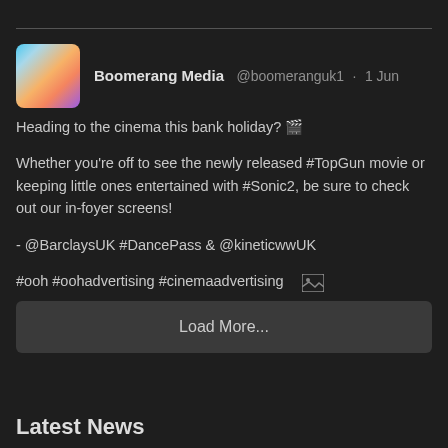[Figure (screenshot): Tweet from Boomerang Media (@boomeranguk1) dated 1 Jun about cinema bank holiday, mentioning #TopGun, #Sonic2, @BarclaysUK #DancePass, @kineticwwUK, #ooh #oohadvertising #cinemaadvertising with Twitter action icons]
Load More...
Latest News